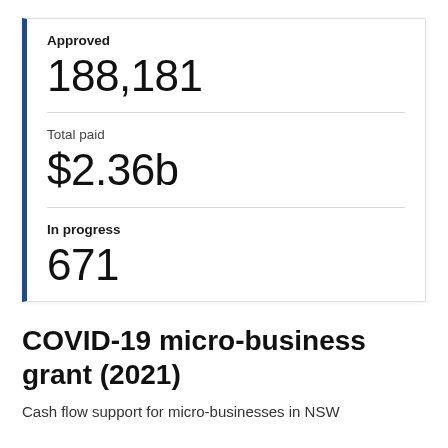Approved
188,181
Total paid
$2.36b
In progress
671
COVID-19 micro-business grant (2021)
Cash flow support for micro-businesses in NSW